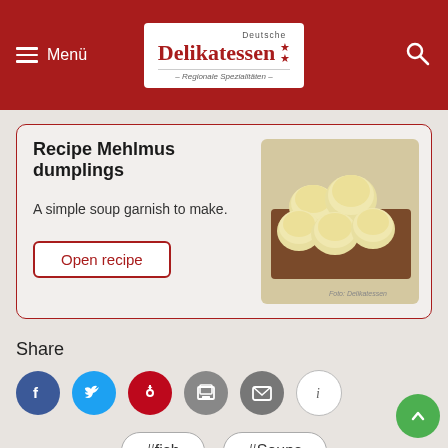Deutsche Delikatessen - Regionale Spezialitäten
Recipe Mehlmus dumplings
A simple soup garnish to make.
Open recipe
[Figure (photo): Photo of dumplings on a wooden board]
Share
[Figure (infographic): Social share icons: Facebook, Twitter, Pinterest, Print, Email, Info]
#fish
#Soups